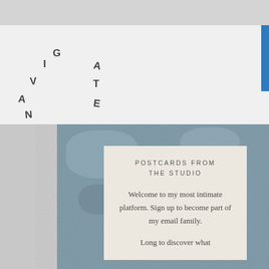[Figure (illustration): Scattered diagonal letters spelling NAVIGATE arranged in two columns]
[Figure (photo): Blurred blue-gray textured background resembling fabric or carpet]
POSTCARDS FROM THE STUDIO
Welcome to my most intimate platform. Sign up to become part of my email family.
Long to discover what